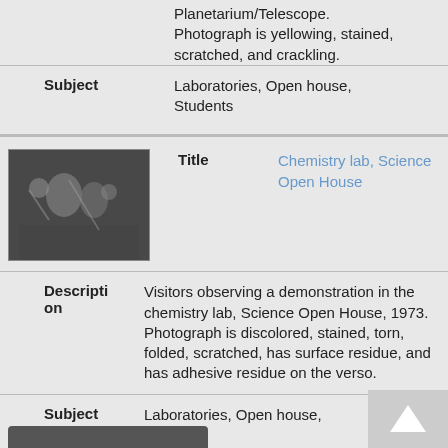Planetarium/Telescope. Photograph is yellowing, stained, scratched, and crackling.
| Field | Value |
| --- | --- |
| Subject | Laboratories, Open house, Students |
| Title | Chemistry lab, Science Open House |
| Description | Visitors observing a demonstration in the chemistry lab, Science Open House, 1973. Photograph is discolored, stained, torn, folded, scratched, has surface residue, and has adhesive residue on the verso. |
| Subject | Laboratories, Open house, Students |
[Figure (photo): Black and white photograph thumbnail of visitors in a chemistry lab during Science Open House]
[Figure (other): Back to top button with upward arrow]